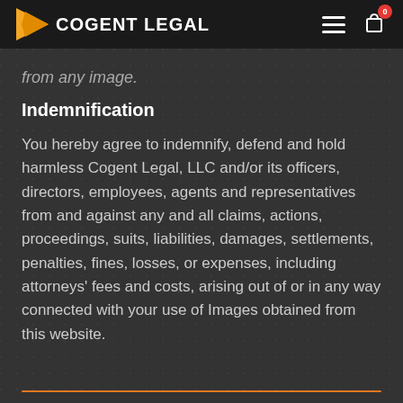COGENT LEGAL
from any image.
Indemnification
You hereby agree to indemnify, defend and hold harmless Cogent Legal, LLC and/or its officers, directors, employees, agents and representatives from and against any and all claims, actions, proceedings, suits, liabilities, damages, settlements, penalties, fines, losses, or expenses, including attorneys' fees and costs, arising out of or in any way connected with your use of Images obtained from this website.